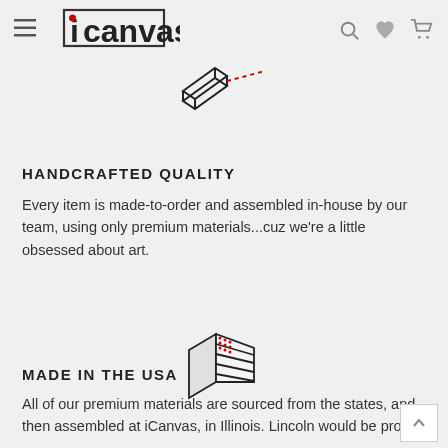iCanvas navigation header with hamburger menu, logo, search, wishlist and cart icons
[Figure (illustration): Icon showing a canvas print being unwrapped or unrolled with a red dashed dotted line accent]
HANDCRAFTED QUALITY
Every item is made-to-order and assembled in-house by our team, using only premium materials...cuz we're a little obsessed about art.
[Figure (illustration): Icon showing a canvas stretched on wooden bars/frame with a red dotted pattern in the corner, in isometric style]
MADE IN THE USA
All of our premium materials are sourced from the states, and then assembled at iCanvas, in Illinois. Lincoln would be proud.